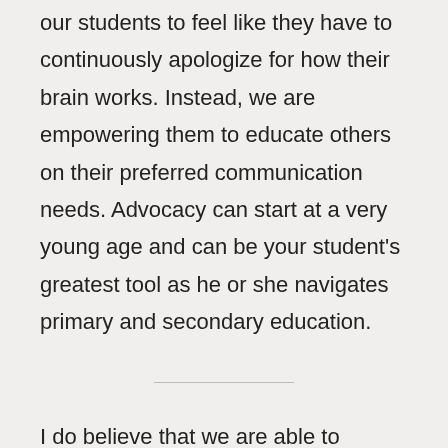our students to feel like they have to continuously apologize for how their brain works. Instead, we are empowering them to educate others on their preferred communication needs. Advocacy can start at a very young age and can be your student's greatest tool as he or she navigates primary and secondary education.
I do believe that we are able to embrace neurodiverse practices in education. With that said, I don't believe the word disorder is going away any time soon for the educational